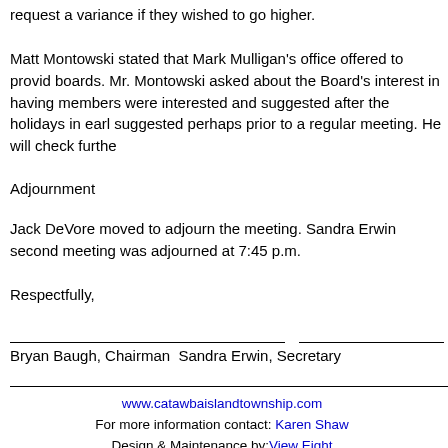request a variance if they wished to go higher.
Matt Montowski stated that Mark Mulligan's office offered to provide boards. Mr. Montowski asked about the Board's interest in having members were interested and suggested after the holidays in early suggested perhaps prior to a regular meeting. He will check furthe
Adjournment
Jack DeVore moved to adjourn the meeting. Sandra Erwin second meeting was adjourned at 7:45 p.m.
Respectfully,
Bryan Baugh, Chairman  Sandra Erwin, Secretary
www.catawbaislandtownship.com
For more information contact: Karen Shaw
Design & Maintenance by: View Eight
Hosting by: CoastalWave.net